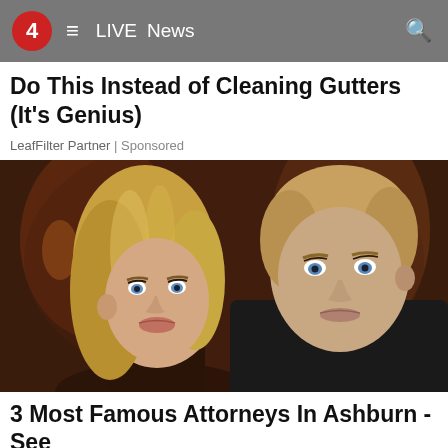4  ≡  LIVE  News
Do This Instead of Cleaning Gutters (It's Genius)
LeafFilter Partner | Sponsored
[Figure (photo): A young blonde woman with blue eyes and a man with short light brown hair and blue eyes, both looking at the camera against a warm dark background.]
3 Most Famous Attorneys In Ashburn - See